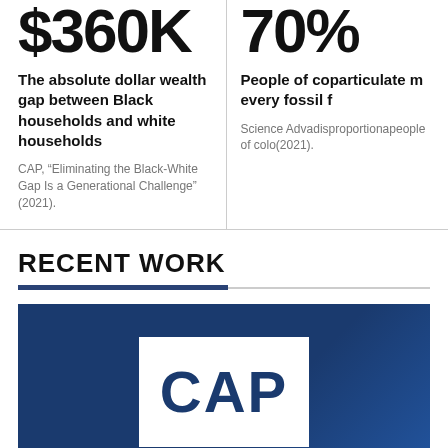$360K
The absolute dollar wealth gap between Black households and white households
CAP, “Eliminating the Black-White Gap Is a Generational Challenge” (2021).
People of co... particulate m... every fossil f...
Science Adva... disproportiona... people of colo... (2021).
RECENT WORK
[Figure (logo): CAP (Center for American Progress) logo — white box with dark blue CAP text on a dark blue gradient background]